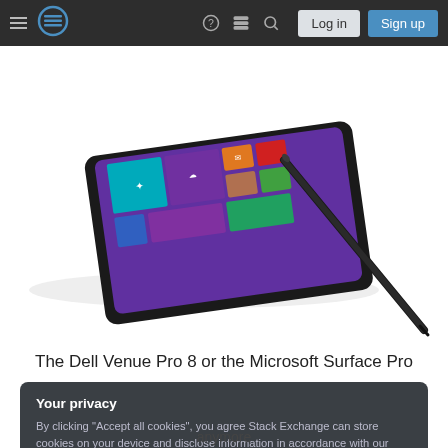Stack Exchange navigation bar with hamburger menu, logo, help, chat, search icons, Log in and Sign up buttons
[Figure (photo): Dell Venue Pro 8 tablet with Windows 8 start screen displayed, lying flat with a stylus pen resting diagonally on top]
The Dell Venue Pro 8 or the Microsoft Surface Pro
Your privacy
By clicking "Accept all cookies", you agree Stack Exchange can store cookies on your device and disclose information in accordance with our Cookie Policy.
anymore